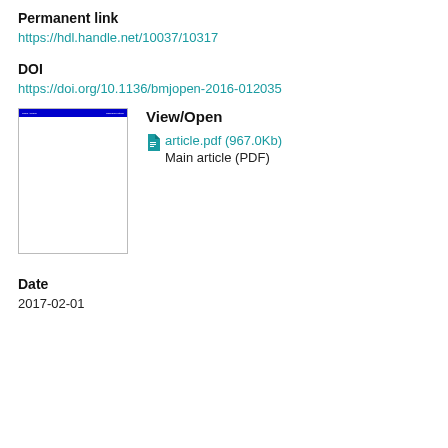Permanent link
https://hdl.handle.net/10037/10317
DOI
https://doi.org/10.1136/bmjopen-2016-012035
[Figure (screenshot): Thumbnail preview of the article PDF showing a blue header bar and white body content]
View/Open
article.pdf (967.0Kb)
Main article (PDF)
Date
2017-02-01